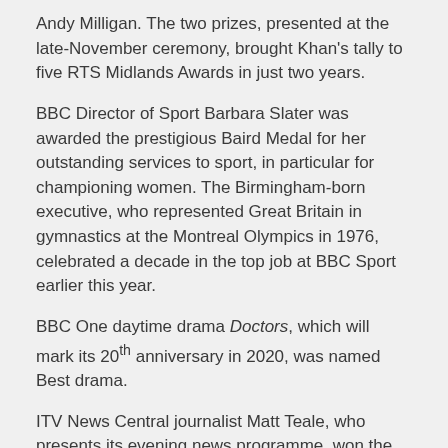Andy Milligan. The two prizes, presented at the late-November ceremony, brought Khan's tally to five RTS Midlands Awards in just two years.
BBC Director of Sport Barbara Slater was awarded the prestigious Baird Medal for her outstanding services to sport, in particular for championing women. The Birmingham-born executive, who represented Great Britain in gymnastics at the Montreal Olympics in 1976, celebrated a decade in the top job at BBC Sport earlier this year.
BBC One daytime drama Doctors, which will mark its 20th anniversary in 2020, was named Best drama.
ITV News Central journalist Matt Teale, who presents its evening news programme, won the award for Best On-screen Personality, while BBC Midlands' Jonathan Gibson was named Journalist of the Year.
Birmingham-born poet Sue Brown, who presented BBC Four documentary First Black Brummies, won the Outstanding New Talent category.
Other winners on the night included Birmingham indie Gosh! Television, which picked up the Factual Entertainment award for